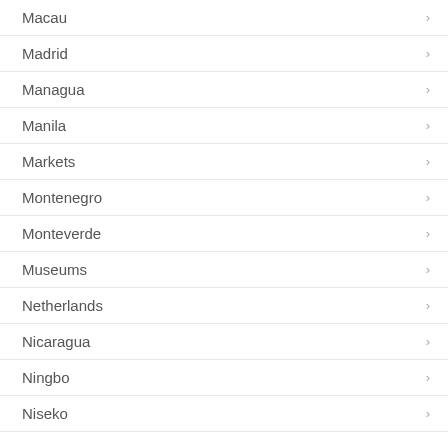Macau
Madrid
Managua
Manila
Markets
Montenegro
Monteverde
Museums
Netherlands
Nicaragua
Ningbo
Niseko